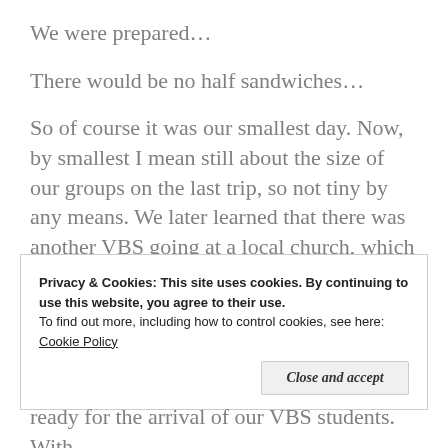We were prepared...
There would be no half sandwiches...
So of course it was our smallest day. Now, by smallest I mean still about the size of our groups on the last trip, so not tiny by any means. We later learned that there was another VBS going at a local church, which undoubtedly cut into our numbers. But we got some great kids and had a great time.
Privacy & Cookies: This site uses cookies. By continuing to use this website, you agree to their use.
To find out more, including how to control cookies, see here: Cookie Policy
Close and accept
ready for the arrival of our VBS students. With